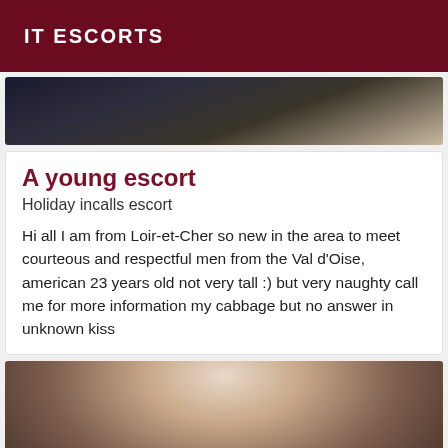IT ESCORTS
[Figure (photo): Top cropped photo showing dark clothing/boots on a light surface]
A young escort
Holiday incalls escort
Hi all I am from Loir-et-Cher so new in the area to meet courteous and respectful men from the Val d'Oise, american 23 years old not very tall :) but very naughty call me for more information my cabbage but no answer in unknown kiss
[Figure (photo): Bottom photo showing a person wearing a black lace bra]